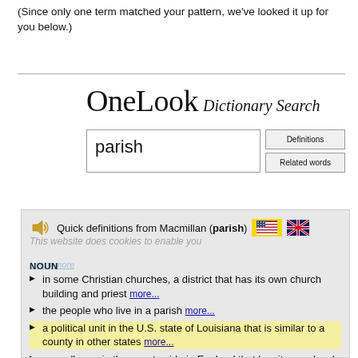(Since only one term matched your pattern, we've looked it up for you below.)
[Figure (screenshot): OneLook Dictionary Search logo with search box containing 'parish' and buttons for Definitions and Related words, followed by a definition panel showing Quick definitions from Macmillan for parish with noun definitions listed]
Quick definitions from Macmillan (parish)
NOUN
in some Christian churches, a district that has its own church building and priest more...
the people who live in a parish more...
a political unit in the U.S. state of Louisiana that is similar to a county in other states more...
a small area in the countryside in England that has its own local government more...